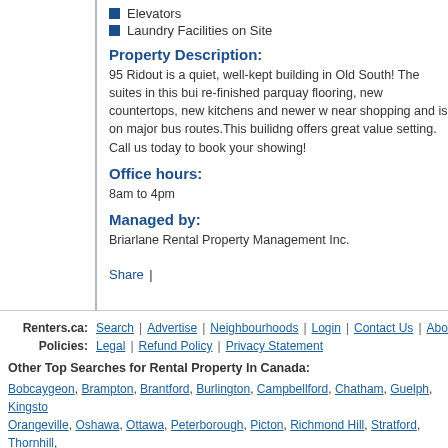Elevators
Laundry Facilities on Site
Property Description:
95 Ridout is a quiet, well-kept building in Old South! The suites in this bui re-finished parquay flooring, new countertops, new kitchens and newer w near shopping and is on major bus routes.This builidng offers great value setting. Call us today to book your showing!
Office hours:
8am to 4pm
Managed by:
Briarlane Rental Property Management Inc.
Share |
Renters.ca: Search | Advertise | Neighbourhoods | Login | Contact Us | Abou Policies: Legal | Refund Policy | Privacy Statement
Other Top Searches for Rental Property In Canada:
Bobcaygeon, Brampton, Brantford, Burlington, Campbellford, Chatham, Guelph, Kingsto Orangeville, Oshawa, Ottawa, Peterborough, Picton, Richmond Hill, Stratford, Thornhill,
© 2011 Renters.ca